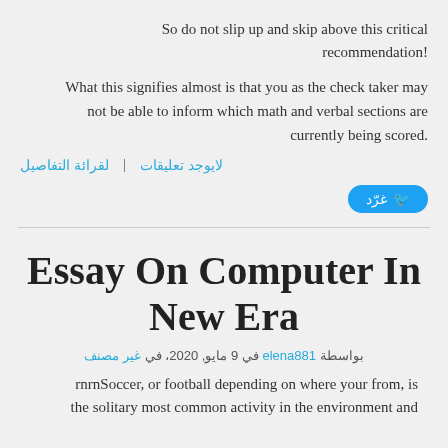So do not slip up and skip above this critical recommendation!
What this signifies almost is that you as the check taker may not be able to inform which math and verbal sections are currently being scored.
لقرائة التفاصيل  |  لايوجد تعليقات
[Figure (other): Tweet button with bird icon and Arabic text غرّد]
Essay On Computer In New Era
بواسطة elena881 في 9 مايو, 2020، في غير مصنف
rnrnSoccer, or football depending on where your from, is the solitary most common activity in the environment and